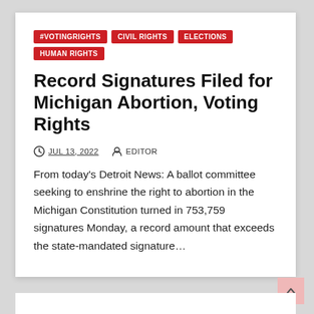#VOTINGRIGHTS
CIVIL RIGHTS
ELECTIONS
HUMAN RIGHTS
Record Signatures Filed for Michigan Abortion, Voting Rights
JUL 13, 2022   EDITOR
From today's Detroit News: A ballot committee seeking to enshrine the right to abortion in the Michigan Constitution turned in 753,759 signatures Monday, a record amount that exceeds the state-mandated signature…